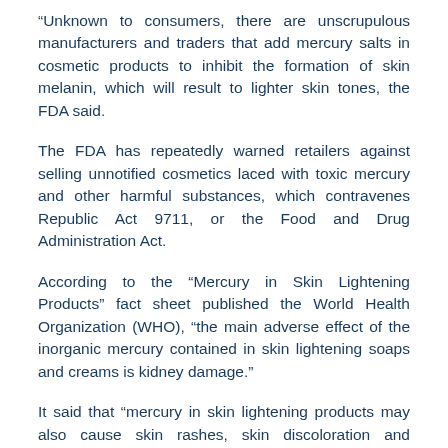“Unknown to consumers, there are unscrupulous manufacturers and traders that add mercury salts in cosmetic products to inhibit the formation of skin melanin, which will result to lighter skin tones, the FDA said.
The FDA has repeatedly warned retailers against selling unnotified cosmetics laced with toxic mercury and other harmful substances, which contravenes Republic Act 9711, or the Food and Drug Administration Act.
According to the “Mercury in Skin Lightening Products” fact sheet published the World Health Organization (WHO), “the main adverse effect of the inorganic mercury contained in skin lightening soaps and creams is kidney damage.”
It said that “mercury in skin lightening products may also cause skin rashes, skin discoloration and scarring, as well as a reduction in the skin’s resistance to bacterial and fungal